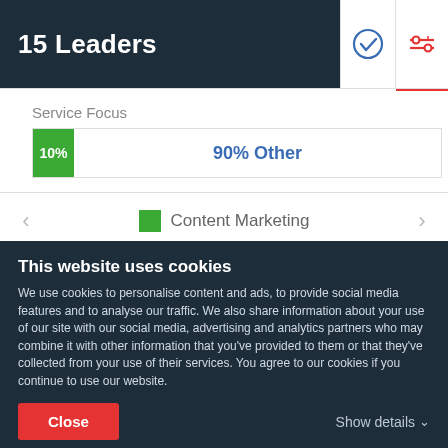15 Leaders
[Figure (infographic): Service Focus horizontal stacked bar showing 10% green (Content Marketing) and 90% Other (blue text)]
Service Focus
10%
90% Other
Content Marketing
[Figure (infographic): Visit Website button with globe icon in red]
This website uses cookies
We use cookies to personalise content and ads, to provide social media features and to analyse our traffic. We also share information about your use of our site with our social media, advertising and analytics partners who may combine it with other information that you've provided to them or that they've collected from your use of their services. You agree to our cookies if you continue to use our website.
Close
Show details